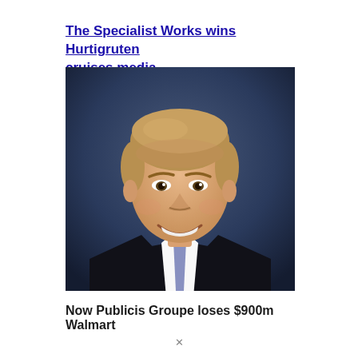The Specialist Works wins Hurtigruten cruises media
[Figure (photo): Headshot of a smiling man with blond-brown hair wearing a dark suit, white shirt and striped tie, against a dark blue gradient background]
Now Publicis Groupe loses $900m Walmart